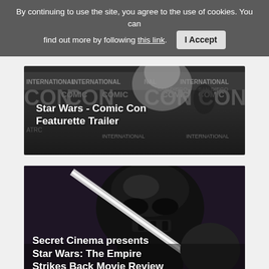By continuing to use the site, you agree to the use of cookies. You can find out more by following this link. [I Accept]
[Figure (screenshot): Video thumbnail for Star Wars - Comic Con Featurette Trailer showing a man at Comic-Con International San Diego backdrop]
Star Wars - Comic Con Featurette Trailer
[Figure (photo): Darth Vader with lightsaber, dark dramatic image for Secret Cinema presents Star Wars: The Empire Strikes Back Movie Review]
Secret Cinema presents Star Wars: The Empire Strikes Back Movie Review
[Figure (photo): Partial thumbnail of a third Star Wars related item with two people, bottom of page]